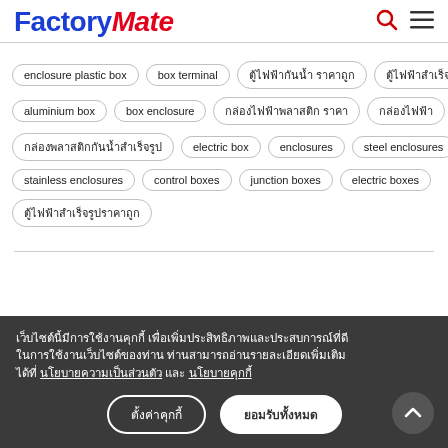FactoryMate
enclosure plastic box
box terminal
ตู้ไฟฟ้ากันน้ำ ราคาถูก
ตู้ไฟฟ้าสำเร็จรูป
aluminium box
box enclosure
กล่องไฟฟ้าพลาสติก ราคา
กล่องไฟฟ้า
ตู้แผงสวิทช์บอร์ด
กล่องพลาสติกกันน้ำสำเร็จรูป
electric box
enclosures
steel enclosures
plastic enclosures
stainless enclosures
control boxes
junction boxes
electric boxes
ตู้ไฟฟ้าสำเร็จรูปราคาถูก
เว็บไซต์นี้มีการใช้งานคุกกี้ เพื่อเพิ่มประสิทธิภาพและประสบการณ์ที่ดีในการใช้งานเว็บไซต์ของท่าน ท่านสามารถอ่านรายละเอียดเพิ่มเติมได้ที่ นโยบายความเป็นส่วนตัว และ นโยบายคุกกี้